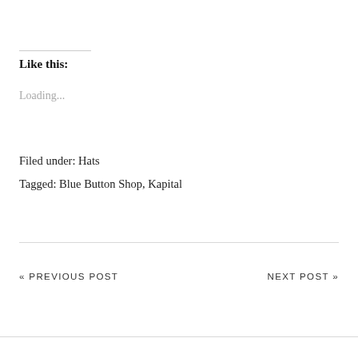Like this:
Loading...
Filed under: Hats
Tagged: Blue Button Shop, Kapital
« PREVIOUS POST
NEXT POST »